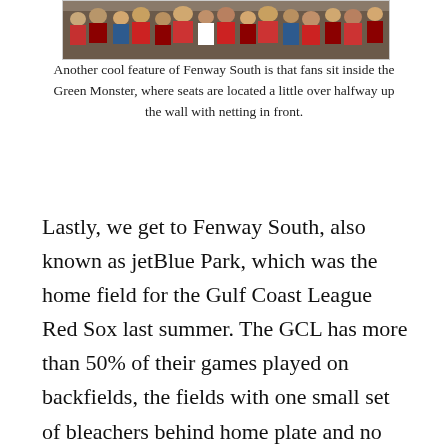[Figure (photo): Crowd of fans at a baseball stadium, visible from the back, wearing hats and jerseys in warm weather.]
Another cool feature of Fenway South is that fans sit inside the Green Monster, where seats are located a little over halfway up the wall with netting in front.
Lastly, we get to Fenway South, also known as jetBlue Park, which was the home field for the Gulf Coast League Red Sox last summer. The GCL has more than 50% of their games played on backfields, the fields with one small set of bleachers behind home plate and no scoreboard. This setting along with playing in the middle of the Florida summer at noon every single day, can make the GCL quite a grind. This is what made playing at Fenway South so memorable for me. It gave me a little bit of an extra edge and fired me up a little more for the game; there was an actual scoreboard